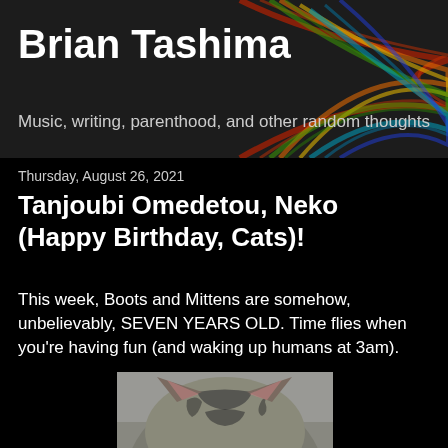Brian Tashima
Music, writing, parenthood, and other random thoughts
Thursday, August 26, 2021
Tanjoubi Omedetou, Neko (Happy Birthday, Cats)!
This week, Boots and Mittens are somehow, unbelievably, SEVEN YEARS OLD. Time flies when you're having fun (and waking up humans at 3am).
[Figure (photo): Close-up photo of a tabby cat with green eyes, gray and black striped fur, and visible whiskers, looking directly at the camera.]